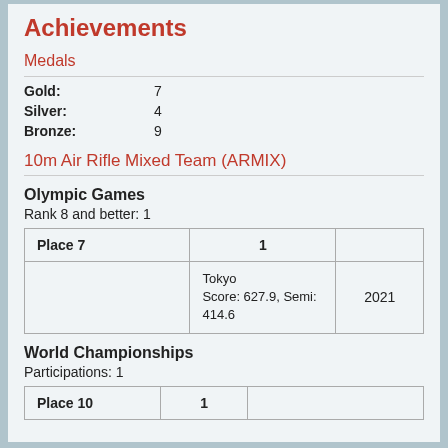Achievements
Medals
Gold: 7
Silver: 4
Bronze: 9
10m Air Rifle Mixed Team (ARMIX)
Olympic Games
Rank 8 and better: 1
| Place 7 | 1 |  |
| --- | --- | --- |
|  | Tokyo
Score: 627.9, Semi: 414.6 | 2021 |
World Championships
Participations: 1
| Place 10 | 1 |  |
| --- | --- | --- |